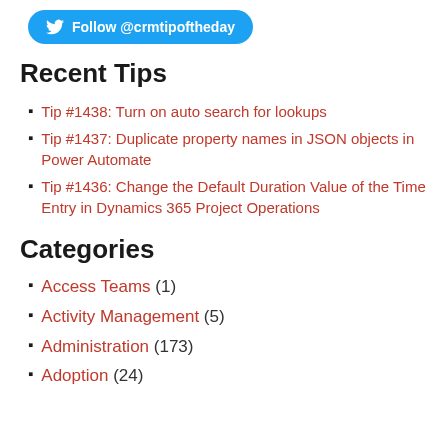[Figure (other): Blue Twitter Follow button with bird icon and text 'Follow @crmtipoftheday']
Recent Tips
Tip #1438: Turn on auto search for lookups
Tip #1437: Duplicate property names in JSON objects in Power Automate
Tip #1436: Change the Default Duration Value of the Time Entry in Dynamics 365 Project Operations
Categories
Access Teams (1)
Activity Management (5)
Administration (173)
Adoption (24)